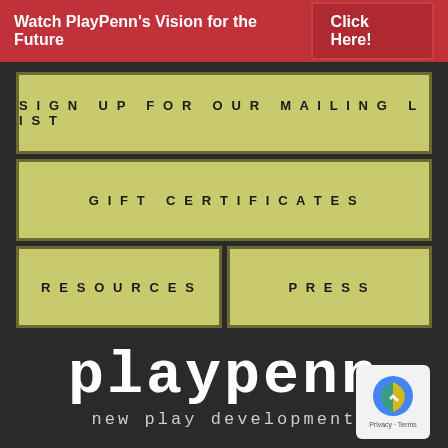Watch PlayPenn's Vision for the Future  Click Here!
SIGN UP FOR OUR MAILING LIST
GIFT CERTIFICATES
RESOURCES
PRESS
[Figure (logo): PlayPenn new play development logo in white typewriter font on dark background]
[Figure (other): Google reCAPTCHA privacy badge with Privacy and Terms links]